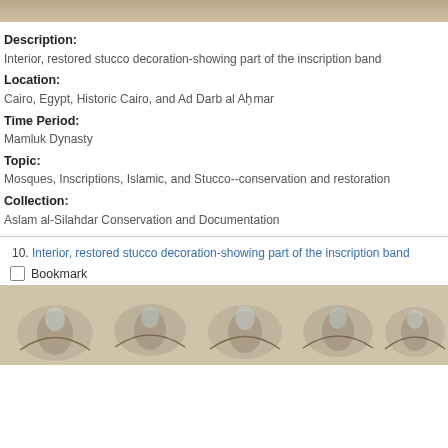[Figure (photo): Top portion of a photo showing what appears to be a stucco or wall surface, cut off at top of page]
Description:
Interior, restored stucco decoration-showing part of the inscription band
Location:
Cairo, Egypt, Historic Cairo, and Ad Darb al Aḥmar
Time Period:
Mamluk Dynasty
Topic:
Mosques, Inscriptions, Islamic, and Stucco--conservation and restoration
Collection:
Aslam al-Silahdar Conservation and Documentation
10. Interior, restored stucco decoration-showing part of the inscription band
Bookmark
[Figure (photo): Bottom photo showing decorative stucco relief carving with floral/arabesque motifs in blue and beige tones]